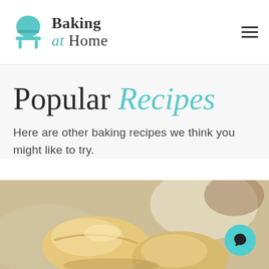[Figure (logo): Baking at Home logo with teal chef hat and table icon, text 'Baking at Home']
Popular Recipes
Here are other baking recipes we think you might like to try.
[Figure (photo): Close-up photo of golden baked goods, likely biscuits or scones, on a light surface]